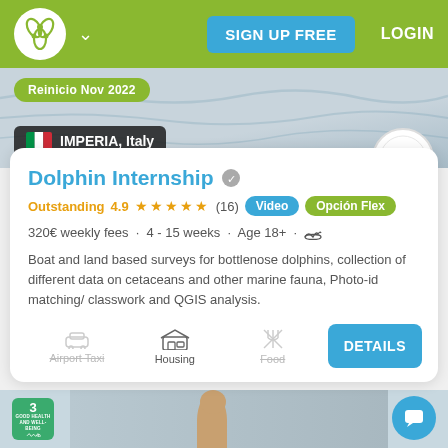[Figure (screenshot): Navigation bar with green background, circular logo, SIGN UP FREE blue button, LOGIN text]
[Figure (screenshot): Hero image of water/sea with Reinicio Nov 2022 badge, IMPERIA Italy location badge, and circular organization logo]
Dolphin Internship
Outstanding 4.9 ★★★★★ (16) Video Opción Flex
320€ weekly fees · 4 - 15 weeks · Age 18+
Boat and land based surveys for bottlenose dolphins, collection of different data on cetaceans and other marine fauna, Photo-id matching/ classwork and QGIS analysis.
Airport Taxi  Housing  Food  DETAILS
[Figure (photo): Bottom section showing a person and SDG goal 3 badge, and chat button]